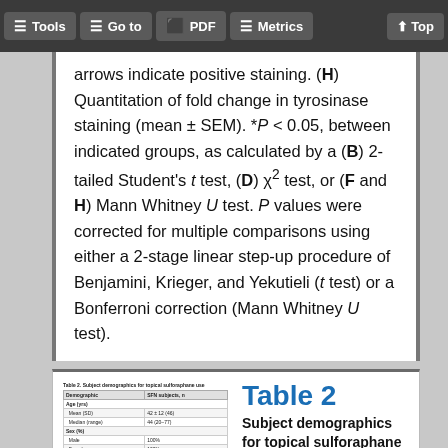Tools | Go to | PDF | Metrics | Top
arrows indicate positive staining. (H) Quantitation of fold change in tyrosinase staining (mean ± SEM). *P < 0.05, between indicated groups, as calculated by a (B) 2-tailed Student's t test, (D) χ² test, or (F and H) Mann Whitney U test. P values were corrected for multiple comparisons using either a 2-stage linear step-up procedure of Benjamini, Krieger, and Yekutieli (t test) or a Bonferroni correction (Mann Whitney U test).
[Figure (table-as-image): Thumbnail preview of Table 2 showing subject demographics data rows with values]
Table 2
Subject demographics for topical sulforaphane